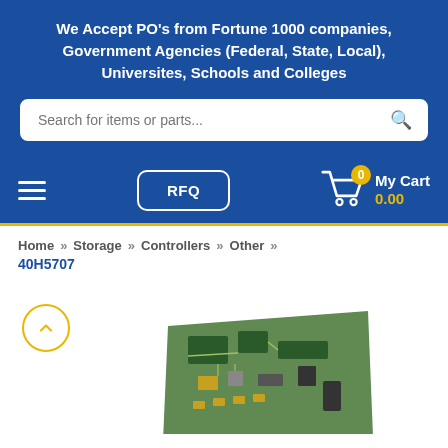We Accept PO's from Fortune 1000 companies, Government Agencies (Federal, State, Local), Universites, Schools and Colleges
[Figure (screenshot): Search bar with placeholder text 'Search for items or parts...' and a search icon on a blue background]
[Figure (screenshot): Navigation bar with hamburger menu, RFQ button, and My Cart icon showing 0.00 on blue background with yellow bottom border]
Home » Storage » Controllers » Other » 40H5707
[Figure (photo): Circuit board / storage controller card (40H5707) partially visible at bottom of page, with a yellow circular scroll-up button on the left]